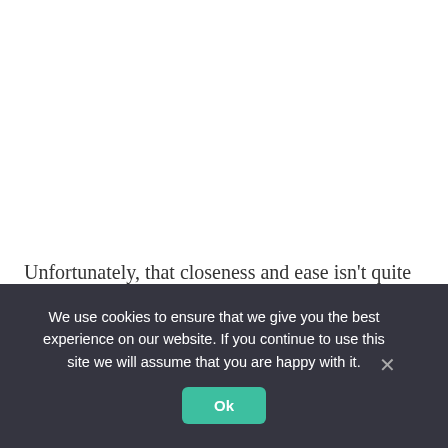Unfortunately, that closeness and ease isn't quite the same between me and my own mom, and all those prickly feelings make choosing a Mother's Day card challenging at
We use cookies to ensure that we give you the best experience on our website. If you continue to use this site we will assume that you are happy with it.